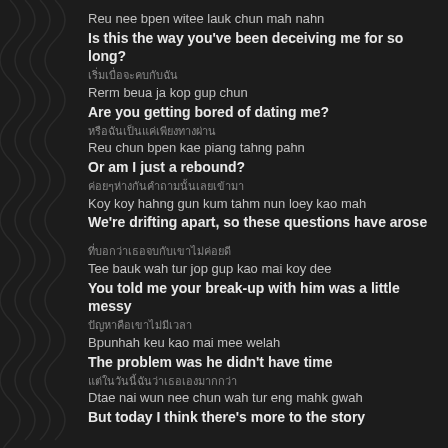Reu nee bpen witee lauk chun mah nahn
Is this the way you've been deceiving me for so long?
เริ่มเบื่อจะคบกับฉัน
Rerm beua ja kop gup chun
Are you getting bored of dating me?
หรือฉันเป็นแค่เพียงทางผ่าน
Reu chun bpen kae piang tahng pahn
Or am I just a rebound?
ค่อยๆห่างกันคำถามนั้นเลยเข้ามา
Koy koy hahng gun kum tahm nun loey kao mah
We're drifting apart, so these questions have arose
ที่บอกว่าเธอจบกับเขาไม่ค่อยดี
Tee bauk wah tur jop gup kao mai koy dee
You told me your break-up with him was a little messy
ปัญหาคือเขาไม่มีเวลา
Bpunhah keu kao mai mee welah
The problem was he didn't have time
แต่ในวันนี้ฉันว่าเธอเองมากกว่า
Dtae nai wun nee chun wah tur eng mahk gwah
But today I think there's more to the story